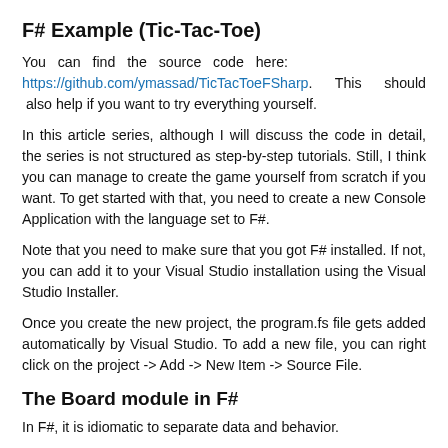F# Example (Tic-Tac-Toe)
You can find the source code here: https://github.com/ymassad/TicTacToeFSharp. This should also help if you want to try everything yourself.
In this article series, although I will discuss the code in detail, the series is not structured as step-by-step tutorials. Still, I think you can manage to create the game yourself from scratch if you want. To get started with that, you need to create a new Console Application with the language set to F#.
Note that you need to make sure that you got F# installed. If not, you can add it to your Visual Studio installation using the Visual Studio Installer.
Once you create the new project, the program.fs file gets added automatically by Visual Studio. To add a new file, you can right click on the project -> Add -> New Item -> Source File.
The Board module in F#
In F#, it is idiomatic to separate data and behavior.
Therefore, I will define types to model the Board and then define